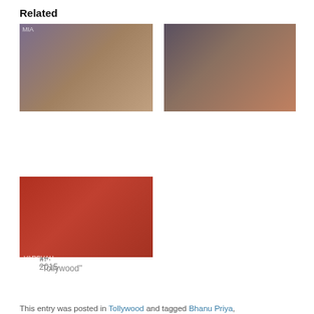Related
[Figure (photo): Movie poster for Baahubali showing a woman in a blue/purple saree]
Baahubali
July 14, 2015
In "Tollywood"
[Figure (photo): Movie scene from Baahubali 2: The Conclusion showing a woman in red attire]
Baahubali 2: The Conclusion
April 29, 2017
In "Tollywood"
[Figure (photo): Movie poster for Varsham showing a couple on a red background with Telugu text]
Varsham
October 30, 2011
In "Tollywood"
This entry was posted in Tollywood and tagged Bhanu Priya, Chatrapathi, MM Keeravani, Mercy with Kheer, Pataas, Hari, Ranbheri, Shafi...